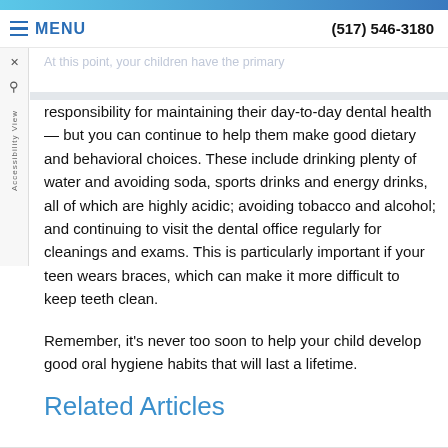(517) 546-3180 | MENU
At this point, your children have the primary responsibility for maintaining their day-to-day dental health — but you can continue to help them make good dietary and behavioral choices. These include drinking plenty of water and avoiding soda, sports drinks and energy drinks, all of which are highly acidic; avoiding tobacco and alcohol; and continuing to visit the dental office regularly for cleanings and exams. This is particularly important if your teen wears braces, which can make it more difficult to keep teeth clean.
Remember, it's never too soon to help your child develop good oral hygiene habits that will last a lifetime.
Related Articles